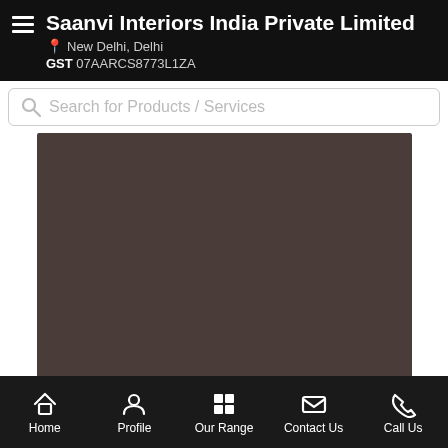Saanvi Interiors India Private Limited | New Delhi, Delhi | GST 07AARCS8773L1ZA
Search for Products / Services
[Figure (photo): Dark brownish-grey product image placeholder]
Approx. Price: Rs 2 / Square Feet
Service Details:
Home | Profile | Our Range | Contact Us | Call Us